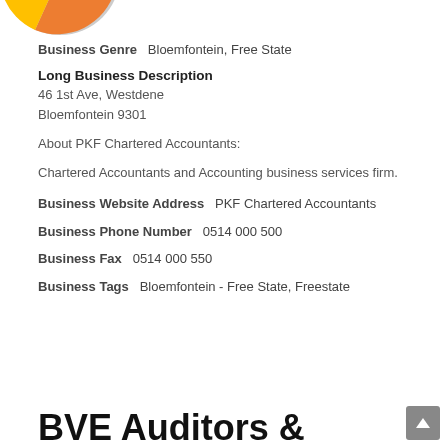[Figure (pie-chart): Partial pie chart visible at top of page, showing blue, orange, and gold segments]
Business Genre   Bloemfontein, Free State
Long Business Description
46 1st Ave, Westdene
Bloemfontein 9301
About PKF Chartered Accountants:
Chartered Accountants and Accounting business services firm.
Business Website Address   PKF Chartered Accountants
Business Phone Number   0514 000 500
Business Fax   0514 000 550
Business Tags   Bloemfontein - Free State, Freestate
BVE Auditors &